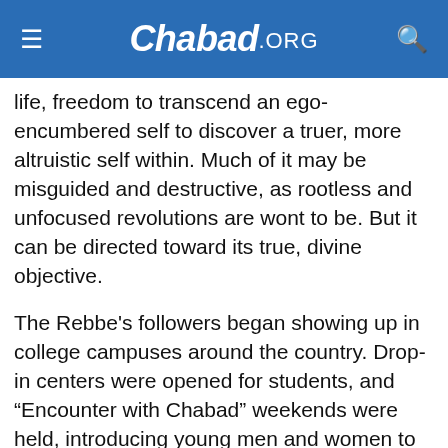Chabad.ORG
life, freedom to transcend an ego-encumbered self to discover a truer, more altruistic self within. Much of it may be misguided and destructive, as rootless and unfocused revolutions are wont to be. But it can be directed toward its true, divine objective.
The Rebbe’s followers began showing up in college campuses around the country. Drop-in centers were opened for students, and “Encounter with Chabad” weekends were held, introducing young men and women to the spiritual world of Torah and Chassidism. After decades, and even generations, of assimilation, young Jews were doing teshuvah—returning to their source and reclaiming their heritage.